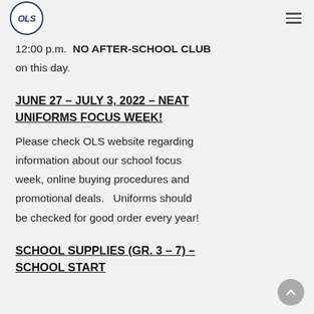OLS school logo and navigation menu
12:00 p.m.  NO AFTER-SCHOOL CLUB on this day.
JUNE 27 – JULY 3, 2022 – NEAT UNIFORMS FOCUS WEEK!
Please check OLS website regarding information about our school focus week, online buying procedures and promotional deals.   Uniforms should be checked for good order every year!
SCHOOL SUPPLIES (GR. 3 – 7) – SCHOOL START